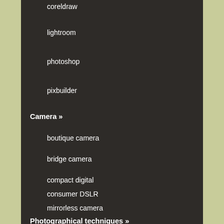coreldraw
lightroom
photoshop
pixbuilder
Camera »
boutique camera
bridge camera
compact digital
consumer DSLR
mirrorless camera
Photographical techniques »